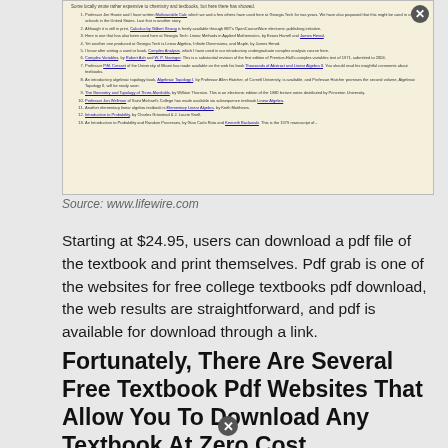[Figure (screenshot): Screenshot of a webpage listing free mathematics textbooks with numbered items and hyperlinks, on a beige/tan background, with a close (X) button overlay]
Source: www.lifewire.com
Starting at $24.95, users can download a pdf file of the textbook and print themselves. Pdf grab is one of the websites for free college textbooks pdf download, the web results are straightforward, and pdf is available for download through a link.
Fortunately, There Are Several Free Textbook Pdf Websites That Allow You To Download Any Textbook At Zero Cost.